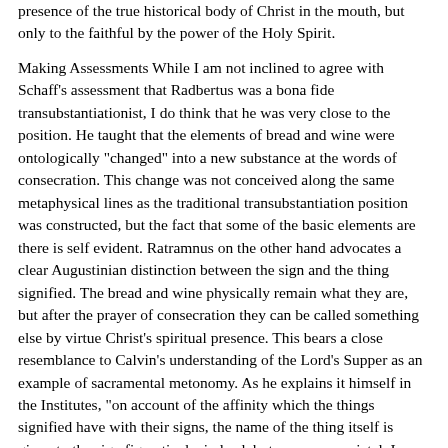presence of the true historical body of Christ in the mouth, but only to the faithful by the power of the Holy Spirit.
Making Assessments While I am not inclined to agree with Schaff's assessment that Radbertus was a bona fide transubstantiationist, I do think that he was very close to the position. He taught that the elements of bread and wine were ontologically "changed" into a new substance at the words of consecration. This change was not conceived along the same metaphysical lines as the traditional transubstantiation position was constructed, but the fact that some of the basic elements are there is self evident. Ratramnus on the other hand advocates a clear Augustinian distinction between the sign and the thing signified. The bread and wine physically remain what they are, but after the prayer of consecration they can be called something else by virtue Christ's spiritual presence. This bears a close resemblance to Calvin's understanding of the Lord's Supper as an example of sacramental metonomy. As he explains it himself in the Institutes, "on account of the affinity which the things signified have with their signs, the name of the thing itself is given to the sign figuratively, indeed, but very appropriatelyI say that the expression which is uniformly used in Scripture, when the sacred mysteries are treated of, is metonymical." Calvin also speaks of the Sacraments as food for the soul:
Thus when bread is given as a symbol of the body of Christ, we